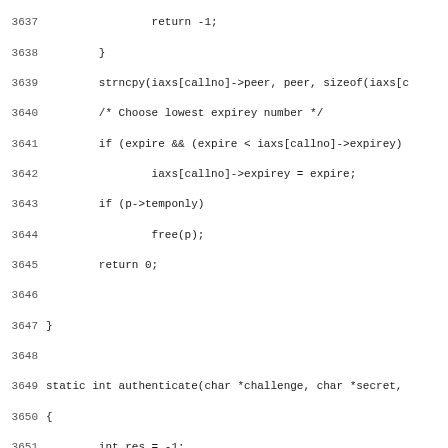[Figure (screenshot): Source code listing showing lines 3637-3668 of a C program implementing an authenticate function. Line numbers are shown on the left. The code includes return statements, strncpy calls, comments about choosing lowest expiry number, conditional checks, and the beginning of a static int authenticate function with RSA authentication logic.]